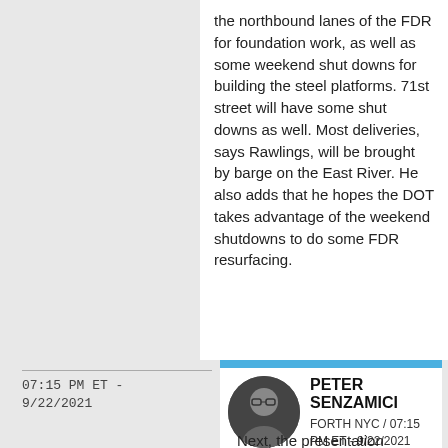the northbound lanes of the FDR for foundation work, as well as some weekend shut downs for building the steel platforms. 71st street will have some shut downs as well. Most deliveries, says Rawlings, will be brought by barge on the East River. He also adds that he hopes the DOT takes advantage of the weekend shutdowns to do some FDR resurfacing.
07:15 PM ET - 9/22/2021
PETER SENZAMICI
FORTH NYC / 07:15 PM ET - 9/22/2021
Next, the presentation